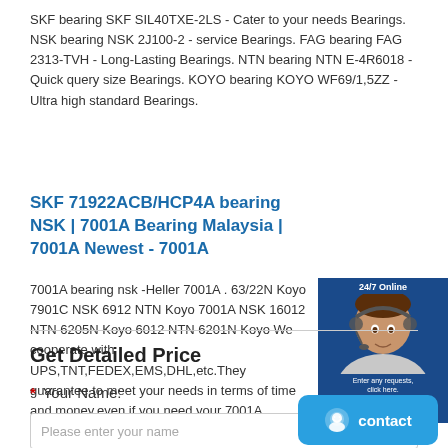SKF bearing SKF SIL40TXE-2LS - Cater to your needs Bearings. NSK bearing NSK 2J100-2 - service Bearings. FAG bearing FAG 2313-TVH - Long-Lasting Bearings. NTN bearing NTN E-4R6018 - Quick query size Bearings. KOYO bearing KOYO WF69/1,5ZZ - Ultra high standard Bearings.
SKF 71922ACB/HCP4A bearing NSK | 7001A Bearing Malaysia | 7001A Newest - 7001A
7001A bearing nsk -Heller 7001A . 63/22N Koyo 7901C NSK 6912 NTN Koyo 7001A NSK 16012 NTN 6205N Koyo 6012 NTN 6201N Koyo We cooperate with UPS,TNT,FEDEX,EMS,DHL,etc.They guarantee to meet your needs in terms of time and money,even if you need your 7001A bearing delivered tomorrow morning (aka overnight or next day air) on your desk, 2, 3 days or more.Note to international customers.
[Figure (other): 24/7 Online chat widget showing a customer service representative with headset, with buttons 'Enter any requests, click here.' and 'Quotation']
Get Detailed Price
* Your Name:
Please enter your name
[Figure (other): Blue rounded contact button with chat icon and 'contact' text]